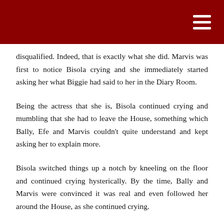disqualified. Indeed, that is exactly what she did. Marvis was first to notice Bisola crying and she immediately started asking her what Biggie had said to her in the Diary Room.
Being the actress that she is, Bisola continued crying and mumbling that she had to leave the House, something which Bally, Efe and Marvis couldn’t quite understand and kept asking her to explain more.
Bisola switched things up a notch by kneeling on the floor and continued crying hysterically. By the time, Bally and Marvis were convinced it was real and even followed her around the House, as she continued crying.
Biggie then stepped in, calling all the Housemates into the lounge and playing along first, telling them that Bisola was